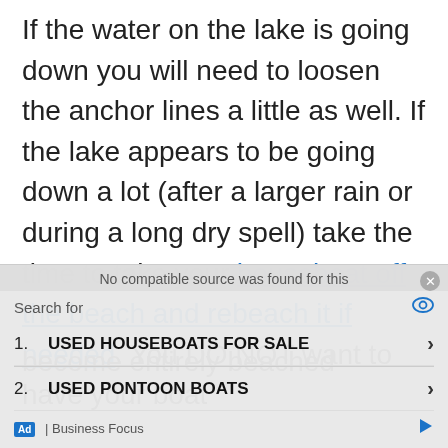If the water on the lake is going down you will need to loosen the anchor lines a little as well. If the lake appears to be going down a lot (after a larger rain or during a long dry spell) take the time to take your houseboat off the beach and rebeach it if needed. You DO NOT want to have your boat become entirely beached because you
[Figure (screenshot): Ad overlay showing search results: 'Search for' header with eye icon, two list items: 1. USED HOUSEBOATS FOR SALE, 2. USED PONTOON BOATS, with Business Focus branding]